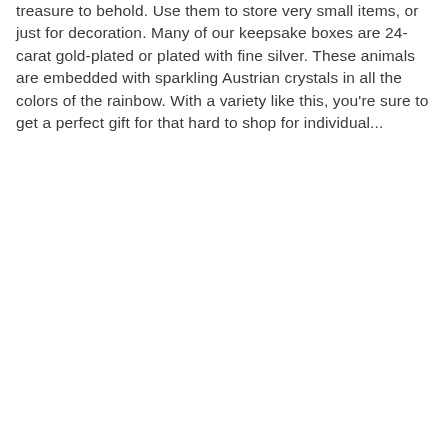treasure to behold. Use them to store very small items, or just for decoration. Many of our keepsake boxes are 24-carat gold-plated or plated with fine silver. These animals are embedded with sparkling Austrian crystals in all the colors of the rainbow. With a variety like this, you're sure to get a perfect gift for that hard to shop for individual...